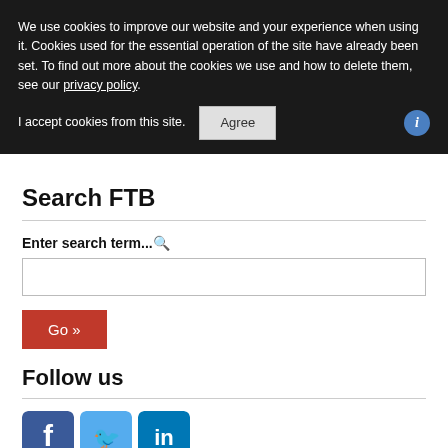We use cookies to improve our website and your experience when using it. Cookies used for the essential operation of the site have already been set. To find out more about the cookies we use and how to delete them, see our privacy policy.
I accept cookies from this site. [Agree button]
Search FTB
Enter search term...
Go »
Follow us
[Figure (other): Social media icons: Facebook (blue f), Twitter (light blue bird), LinkedIn (blue in)]